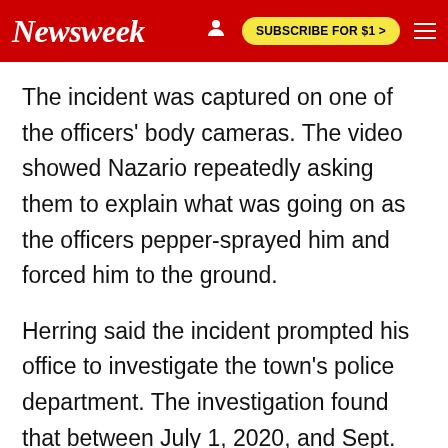Newsweek | SUBSCRIBE FOR $1 >
The incident was captured on one of the officers' body cameras. The video showed Nazario repeatedly asking them to explain what was going on as the officers pepper-sprayed him and forced him to the ground.
Herring said the incident prompted his office to investigate the town's police department. The investigation found that between July 1, 2020, and Sept. 30 of this year, 42 percent of the department's traffic stops were for Black drivers even though only 22 percent of